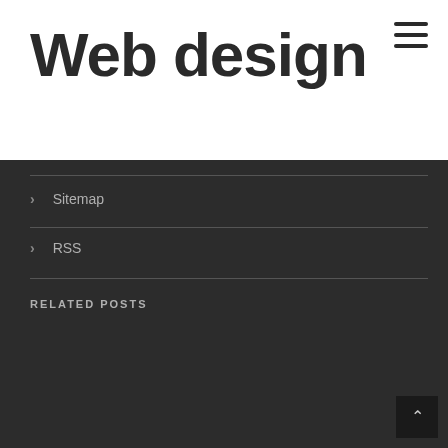Web design
Sitemap
RSS
RELATED POSTS